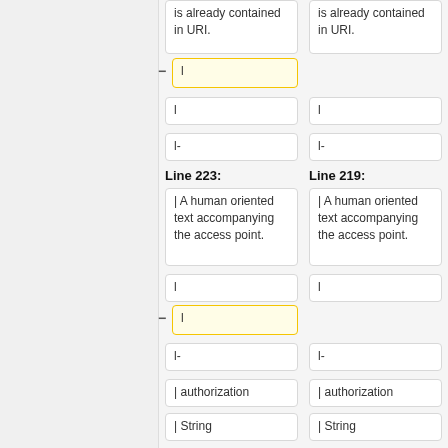is already contained in URI.
is already contained in URI.
l
l
l
l-
l-
Line 223:
Line 219:
| A human oriented text accompanying the access point.
| A human oriented text accompanying the access point.
l
l
l
l-
l-
| authorization
| authorization
| String
| String
| Contains authorization information. E.g: a
| Contains authorization information. E.g: a